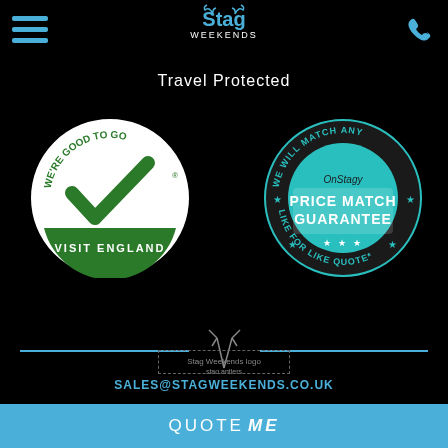[Figure (logo): Stag Weekends logo with antlers icon at top center]
Travel Protected
[Figure (logo): We're Good To Go – Visit England badge (circular, green and white)]
[Figure (logo): Price Match Guarantee badge – circular, teal/dark, text: WE WILL MATCH ANY PRICE MATCH GUARANTEE LIKE FOR LIKE QUOTE]
[Figure (logo): Stag antlers icon (divider center)]
[Figure (logo): Stag Weekends logo (footer)]
SALES@STAGWEEKENDS.CO.UK
01773 766 006
QUOTE ME